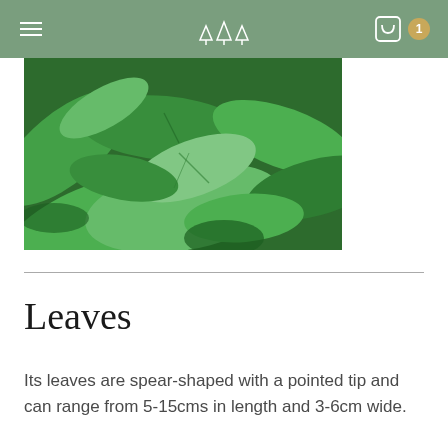Navigation header with hamburger menu, tree logo, cart icon, and badge showing 1
[Figure (photo): Close-up photograph of dense green spear-shaped leaves filling the frame]
Leaves
Its leaves are spear-shaped with a pointed tip and can range from 5-15cms in length and 3-6cm wide.